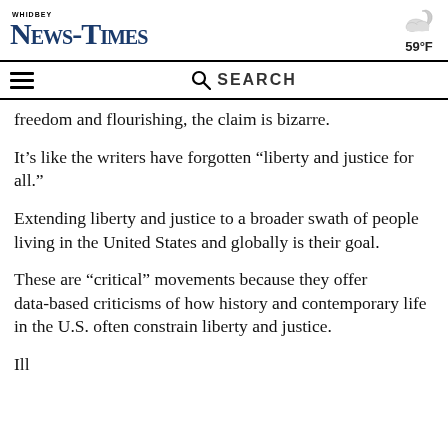Whidbey News-Times
freedom and flourishing, the claim is bizarre.
It’s like the writers have forgotten “liberty and justice for all.”
Extending liberty and justice to a broader swath of people living in the United States and globally is their goal.
These are “critical” movements because they offer data-based criticisms of how history and contemporary life in the U.S. often constrain liberty and justice.
Ill- off- in t- —-d f- — -lif- th- d-